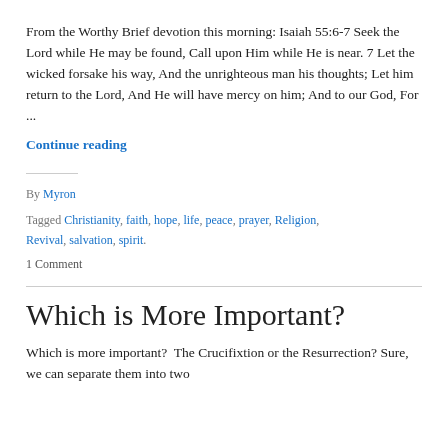From the Worthy Brief devotion this morning: Isaiah 55:6-7 Seek the Lord while He may be found, Call upon Him while He is near. 7 Let the wicked forsake his way, And the unrighteous man his thoughts; Let him return to the Lord, And He will have mercy on him; And to our God, For ...
Continue reading
By Myron
Tagged Christianity, faith, hope, life, peace, prayer, Religion, Revival, salvation, spirit.
1 Comment
Which is More Important?
Which is more important?  The Crucifixtion or the Resurrection? Sure, we can separate them into two